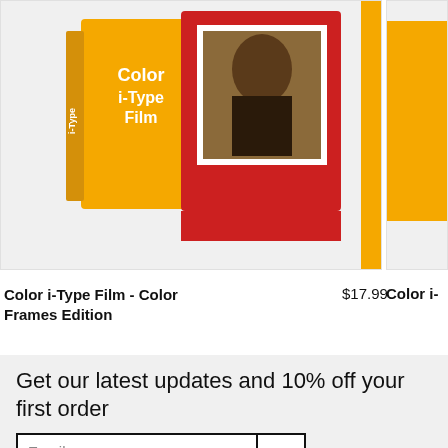[Figure (photo): Product photo showing Polaroid Color i-Type Film Color Frames Edition box — yellow box with 'Color i-Type Film' text and a red-framed photo print, partially cropped on left side. A second product is partially visible on the right edge.]
Color i-Type Film - Color Frames Edition
$17.99
Color i-
Get our latest updates and 10% off your first order
Email